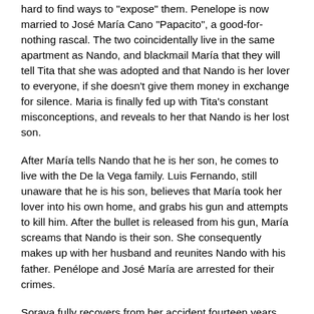hard to find ways to "expose" them. Penelope is now married to José María Cano "Papacito", a good-for-nothing rascal. The two coincidentally live in the same apartment as Nando, and blackmail María that they will tell Tita that she was adopted and that Nando is her lover to everyone, if she doesn't give them money in exchange for silence. Maria is finally fed up with Tita's constant misconceptions, and reveals to her that Nando is her lost son.
After María tells Nando that he is her son, he comes to live with the De la Vega family. Luis Fernando, still unaware that he is his son, believes that María took her lover into his own home, and grabs his gun and attempts to kill him. After the bullet is released from his gun, María screams that Nando is their son. She consequently makes up with her husband and reunites Nando with his father. Penélope and José María are arrested for their crimes.
Soraya fully recovers from her accident fourteen years prior and lives in Texas, United States. She marries the widowed billionaire Oscar Montalbán, whose seventeen-year-old daughter Alicia is disabled. She murders him and inherits all his wealth, but has to take care of Alicia. Soraya returns to Mexico, ready to get revenge on María and the De la Vega family. At first, she shows remorse for